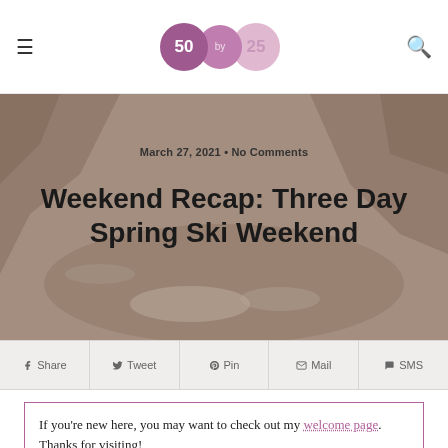≡  50 by 25  🔍
[Figure (photo): Hero image showing a rocky mountain canyon with snow and dry brush, used as background for the article title.]
March 27, 2021 • No Comments
Weekend Recap: Three Day Spring Ski Weekend
f Share  🐦 Tweet  p Pin  ✉ Mail  💬 SMS
If you're new here, you may want to check out my welcome page. Thanks for visiting!
Another three day weekend off from consulting – I headed up to the mountains Thursday night in order